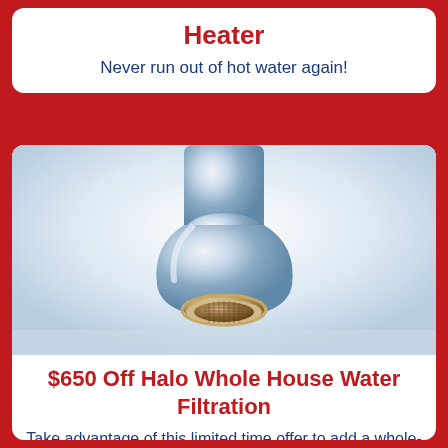Heater
Never run out of hot water again!
[Figure (photo): Close-up photo of a chrome faucet aerator with mineral/calcium buildup and rust deposits on the mesh screen]
$650 Off Halo Whole House Water Filtration
Take advantage of this limited time offer to add a whole-house water filtration system to your home